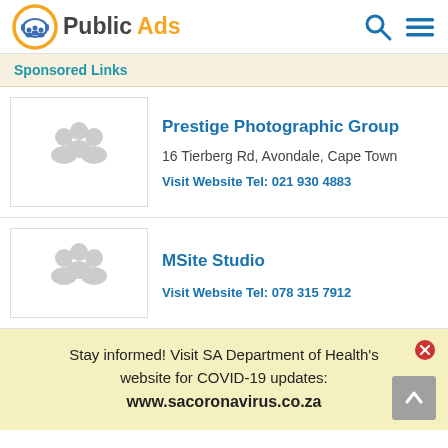PublicAds
Sponsored Links
Prestige Photographic Group
16 Tierberg Rd, Avondale, Cape Town
Visit Website Tel: 021 930 4883
MSite Studio
Visit Website Tel: 078 315 7912
Stay informed! Visit SA Department of Health's website for COVID-19 updates: www.sacoronavirus.co.za